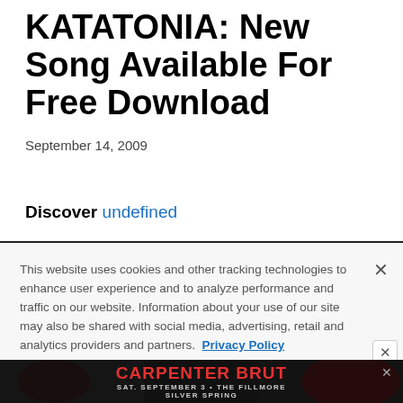KATATONIA: New Song Available For Free Download
September 14, 2009
Discover undefined
This website uses cookies and other tracking technologies to enhance user experience and to analyze performance and traffic on our website. Information about your use of our site may also be shared with social media, advertising, retail and analytics providers and partners. Privacy Policy
[Figure (other): Advertisement banner for Carpenter Brut, Sat. September 3 at The Fillmore Silver Spring, dark background with red text and shadowy figure]